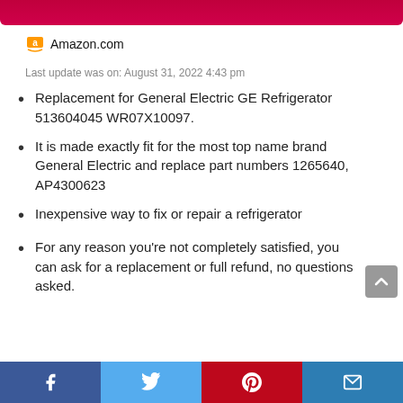Amazon.com
Last update was on: August 31, 2022 4:43 pm
Replacement for General Electric GE Refrigerator 513604045 WR07X10097.
It is made exactly fit for the most top name brand General Electric and replace part numbers 1265640, AP4300623
Inexpensive way to fix or repair a refrigerator
For any reason you're not completely satisfied, you can ask for a replacement or full refund, no questions asked.
Facebook | Twitter | Pinterest | Email